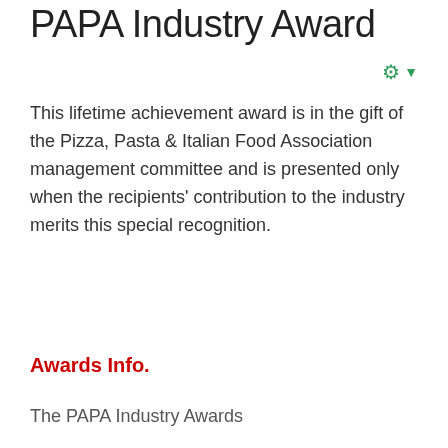PAPA Industry Award
This lifetime achievement award is in the gift of the Pizza, Pasta & Italian Food Association management committee and is presented only when the recipients' contribution to the industry merits this special recognition.
Awards Info.
The PAPA Industry Awards